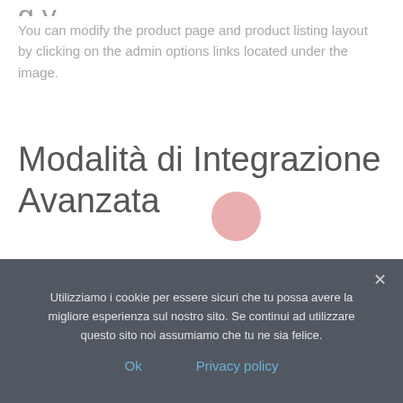You can modify the product page and product listing layout by clicking on the admin options links located under the image.
Modalità di Integrazione Avanzata
You are currently using advanced mode.
Utilizziamo i cookie per essere sicuri che tu possa avere la migliore esperienza sul nostro sito. Se continui ad utilizzare questo sito noi assumiamo che tu ne sia felice.
Ok   Privacy policy